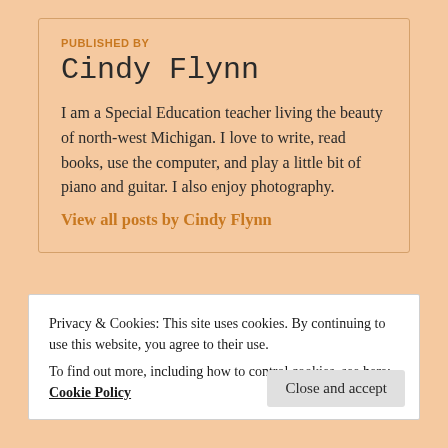PUBLISHED BY
Cindy Flynn
I am a Special Education teacher living the beauty of north-west Michigan. I love to write, read books, use the computer, and play a little bit of piano and guitar. I also enjoy photography.
View all posts by Cindy Flynn
Privacy & Cookies: This site uses cookies. By continuing to use this website, you agree to their use.
To find out more, including how to control cookies, see here: Cookie Policy
Close and accept